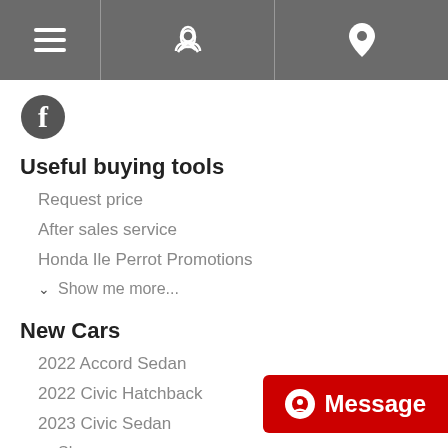Navigation bar with hamburger menu, phone icon, and location pin icon
[Figure (logo): Facebook circular logo icon in dark grey]
Useful buying tools
Request price
After sales service
Honda Ile Perrot Promotions
Show me more...
New Cars
2022 Accord Sedan
2022 Civic Hatchback
2023 Civic Sedan
Show me more...
[Figure (other): Red Message button with white chat icon]
Hybrids and Electrics